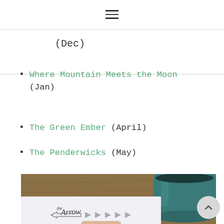≡ (hamburger menu icon)
(Dec)
Where Mountain Meets the Moon (Jan)
The Green Ember (April)
The Penderwicks (May)
[Figure (photo): Photo of a white card labeled 'The Arrow' with arrow graphics, resting on a wooden table next to a dark teal/green coffee mug, with a hand partially visible at the bottom edge.]